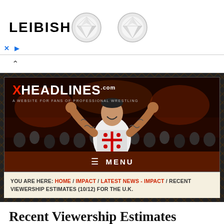[Figure (photo): Leibish jewelry advertisement banner with two round diamond earrings and the brand name LEIBISH]
[Figure (screenshot): XHeadlines.com website header banner showing a wrestler (CM Punk) with arms raised wearing a white Chicago t-shirt, crowd in background]
MENU
YOU ARE HERE: HOME / IMPACT / LATEST NEWS - IMPACT / RECENT VIEWERSHIP ESTIMATES (10/12) FOR THE U.K.
Recent Viewership Estimates (10/12) for the U.K.
POSTED ON OCTOBER 21, 2014 BY JOE VINCENT
Recent viewership estimates for IMPACT Wrestling on